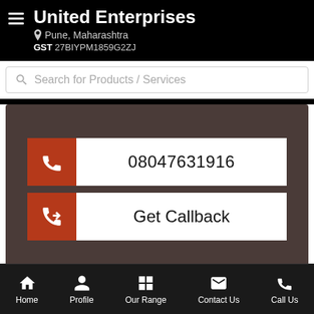United Enterprises — Pune, Maharashtra — GST 27BIYPM1859G2ZJ
Search for Products / Services
[Figure (screenshot): Contact card with dark brown background showing two buttons: a phone call button with number 08047631916 and a Get Callback button, each with a terracotta/rust colored phone icon box on the left and white text area on the right.]
Home | Profile | Our Range | Contact Us | Call Us